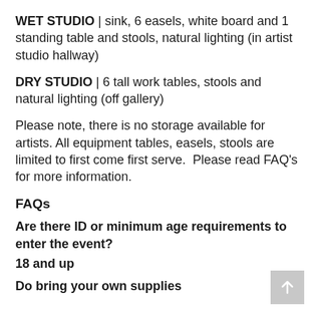WET STUDIO | sink, 6 easels, white board and 1 standing table and stools, natural lighting (in artist studio hallway)
DRY STUDIO | 6 tall work tables, stools and natural lighting (off gallery)
Please note, there is no storage available for artists. All equipment tables, easels, stools are limited to first come first serve.  Please read FAQ's for more information.
FAQs
Are there ID or minimum age requirements to enter the event?
18 and up
Do bring your own supplies